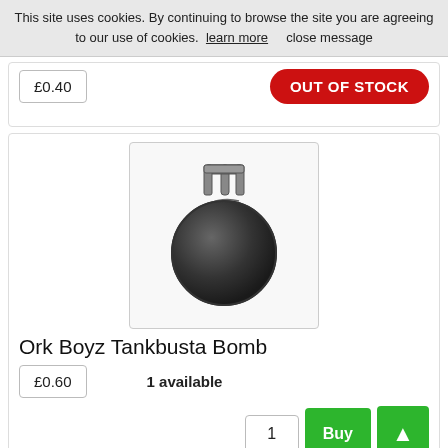This site uses cookies. By continuing to browse the site you are agreeing to our use of cookies. learn more    close message
£0.40
OUT OF STOCK
[Figure (illustration): Ork Boyz Tankbusta Bomb product image — a round metallic bomb with a handle/trigger mechanism, viewed from above, rendered in dark grey/silver tones]
Ork Boyz Tankbusta Bomb
£0.60
1 available
1
Buy